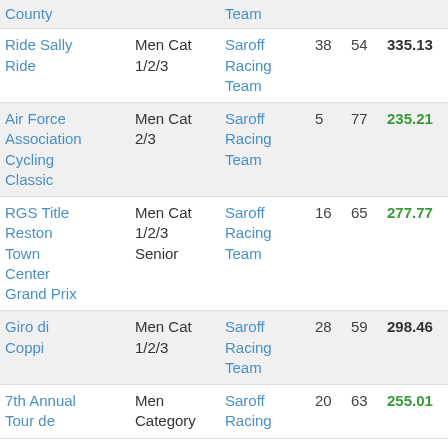| County |  | Team |  |  |  |  |
| --- | --- | --- | --- | --- | --- | --- |
| Ride Sally Ride | Men Cat 1/2/3 | Saroff Racing Team | 38 | 54 | 335.13 |  |
| Air Force Association Cycling Classic | Men Cat 2/3 | Saroff Racing Team | 5 | 77 | 235.21 | 7 |
| RGS Title Reston Town Center Grand Prix | Men Cat 1/2/3 Senior | Saroff Racing Team | 16 | 65 | 277.77 |  |
| Giro di Coppi | Men Cat 1/2/3 | Saroff Racing Team | 28 | 59 | 298.46 |  |
| 7th Annual Tour de | Men Category | Saroff Racing | 20 | 63 | 255.01 | 20 |